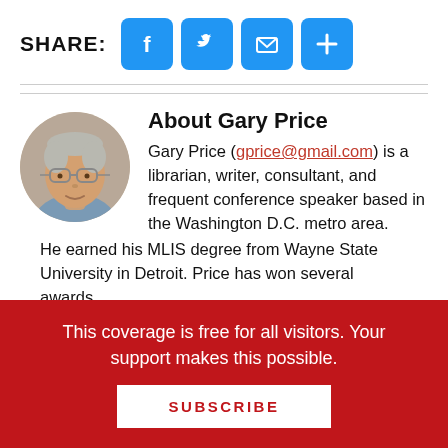SHARE:
[Figure (infographic): Social share buttons: Facebook, Twitter, Email, More (plus icon), all in blue rounded square icons]
About Gary Price
[Figure (photo): Circular headshot photo of Gary Price, a middle-aged man with glasses and short hair]
Gary Price (gprice@gmail.com) is a librarian, writer, consultant, and frequent conference speaker based in the Washington D.C. metro area. He earned his MLIS degree from Wayne State University in Detroit. Price has won several awards
This coverage is free for all visitors. Your support makes this possible.
SUBSCRIBE